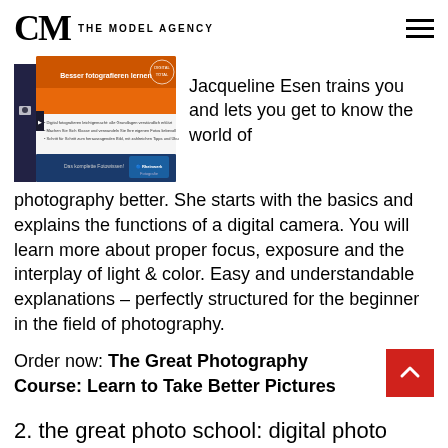CM THE MODEL AGENCY
[Figure (photo): Book cover image for a photography course book titled 'Besser fotografieren lernen' (Learn to take better photos) from Rheinwerk Fotografie publisher, showing an orange and blue book cover.]
Jacqueline Esen trains you and lets you get to know the world of photography better. She starts with the basics and explains the functions of a digital camera. You will learn more about proper focus, exposure and the interplay of light & color. Easy and understandable explanations – perfectly structured for the beginner in the field of photography.
Order now: The Great Photography Course: Learn to Take Better Pictures
2. the great photo school: digital photo practice (Galileo Design)